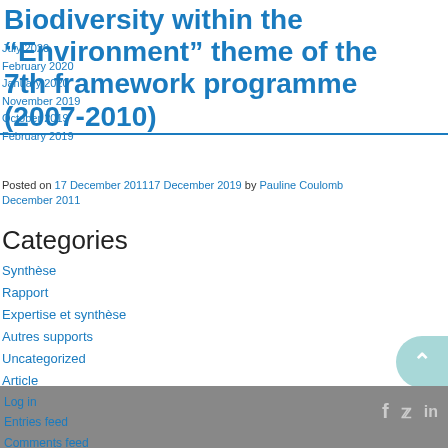Biodiversity within the “Environment” theme of the 7th framework programme (2007-2010)
Posted on 17 December 201117 December 2019 by Pauline Coulomb
December 2011
Categories
Synthèse
Rapport
Expertise et synthèse
Autres supports
Uncategorized
Article
Publications
Opinion paper
Meta
Log in
Entries feed
Comments feed